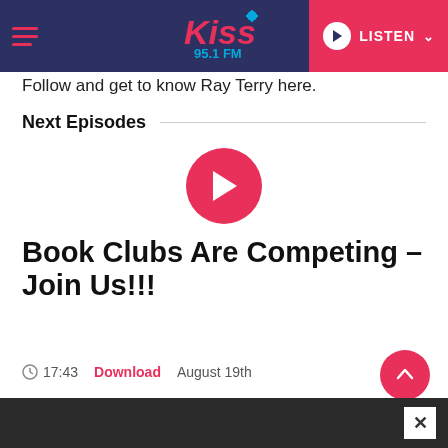Kiss 95.1 FM navigation bar with hamburger menu, logo, and LISTEN button
Follow and get to know Ray Terry here.
Next Episodes
[Figure (other): Pink circular play button for first episode]
Book Clubs Are Competing – Join Us!!!
⏱ 17:43   Download   August 19th
[Figure (other): Pink circular play button for second episode (partially visible)]
Dark bottom bar with close (x) button